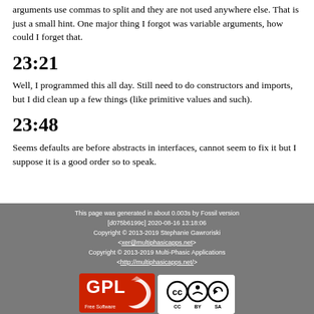arguments use commas to split and they are not used anywhere else. That is just a small hint. One major thing I forgot was variable arguments, how could I forget that.
23:21
Well, I programmed this all day. Still need to do constructors and imports, but I did clean up a few things (like primitive values and such).
23:48
Seems defaults are before abstracts in interfaces, cannot seem to fix it but I suppose it is a good order so to speak.
This page was generated in about 0.003s by Fossil version [d075b6199c] 2020-08-16 13:18:06 Copyright © 2013-2019 Stephanie Gawroriski <xer@multiphasicapps.net> Copyright © 2013-2019 Multi-Phasic Applications <http://multiphasicapps.net/>